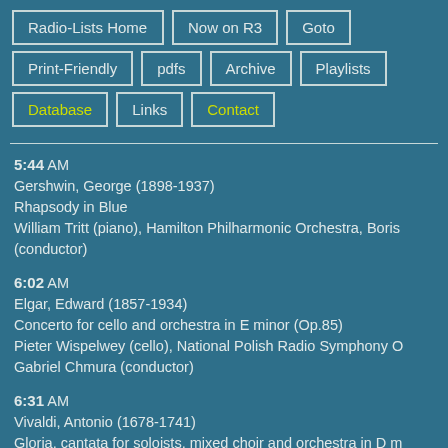Radio-Lists Home
Now on R3
Goto
Print-Friendly
pdfs
Archive
Playlists
Database
Links
Contact
5:44 AM
Gershwin, George (1898-1937)
Rhapsody in Blue
William Tritt (piano), Hamilton Philharmonic Orchestra, Boris (conductor)
6:02 AM
Elgar, Edward (1857-1934)
Concerto for cello and orchestra in E minor (Op.85)
Pieter Wispelwey (cello), National Polish Radio Symphony O Gabriel Chmura (conductor)
6:31 AM
Vivaldi, Antonio (1678-1741)
Gloria, cantata for soloists, mixed choir and orchestra in D m Ann Monovios (soprano), Matthew White (counter tenor), Co